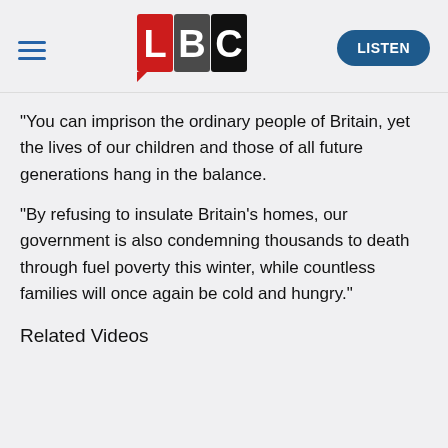[Figure (logo): LBC radio logo with L in red, B in dark/grey, C in black on white squares, with a small red speech bubble element]
"You can imprison the ordinary people of Britain, yet the lives of our children and those of all future generations hang in the balance.

"By refusing to insulate Britain's homes, our government is also condemning thousands to death through fuel poverty this winter, while countless families will once again be cold and hungry."
Related Videos